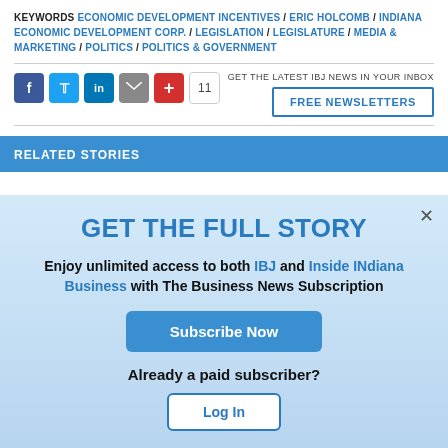KEYWORDS ECONOMIC DEVELOPMENT INCENTIVES / ERIC HOLCOMB / INDIANA ECONOMIC DEVELOPMENT CORP. / LEGISLATION / LEGISLATURE / MEDIA & MARKETING / POLITICS / POLITICS & GOVERNMENT
[Figure (other): Social media share icons: Facebook, Twitter, LinkedIn, Email, Plus button, and share count of 11]
GET THE LATEST IBJ NEWS IN YOUR INBOX
FREE NEWSLETTERS
RELATED STORIES
GET THE FULL STORY
Enjoy unlimited access to both IBJ and Inside INdiana Business with The Business News Subscription
Subscribe Now
Already a paid subscriber?
Log In